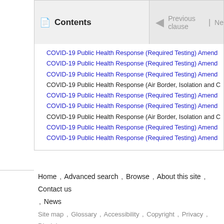Contents | Previous clause | Ne
COVID-19 Public Health Response (Required Testing) Amend
COVID-19 Public Health Response (Required Testing) Amend
COVID-19 Public Health Response (Required Testing) Amend
COVID-19 Public Health Response (Air Border, Isolation and C
COVID-19 Public Health Response (Required Testing) Amend
COVID-19 Public Health Response (Required Testing) Amend
COVID-19 Public Health Response (Air Border, Isolation and C
COVID-19 Public Health Response (Required Testing) Amend
COVID-19 Public Health Response (Required Testing) Amend
Home , Advanced search , Browse , About this site , Contact us , News
Site map , Glossary , Accessibility , Copyright , Privacy , Disclaimer